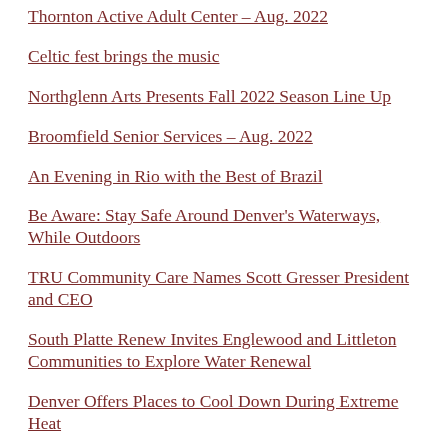Thornton Active Adult Center – Aug. 2022
Celtic fest brings the music
Northglenn Arts Presents Fall 2022 Season Line Up
Broomfield Senior Services – Aug. 2022
An Evening in Rio with the Best of Brazil
Be Aware: Stay Safe Around Denver's Waterways, While Outdoors
TRU Community Care Names Scott Gresser President and CEO
South Platte Renew Invites Englewood and Littleton Communities to Explore Water Renewal
Denver Offers Places to Cool Down During Extreme Heat
Youth, Seniors with Dementia Celebrate Unplugged Summer